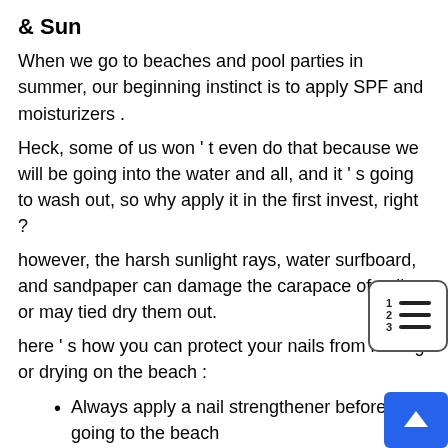& Sun
When we go to beaches and pool parties in summer, our beginning instinct is to apply SPF and moisturizers .
Heck, some of us won ' t even do that because we will be going into the water and all, and it ' s going to wash out, so why apply it in the first invest, right ?
however, the harsh sunlight rays, water surfboard, and sandpaper can damage the carapace of nails or may tied dry them out.
here ' s how you can protect your nails from ruining or drying on the beach :
Always apply a nail strengthener before going to the beach
Don't forget to moisturize your cuticles